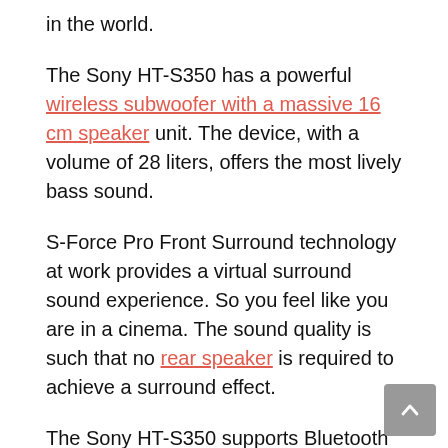in the world.
The Sony HT-S350 has a powerful wireless subwoofer with a massive 16 cm speaker unit. The device, with a volume of 28 liters, offers the most lively bass sound.
S-Force Pro Front Surround technology at work provides a virtual surround sound experience. So you feel like you are in a cinema. The sound quality is such that no rear speaker is required to achieve a surround effect.
The Sony HT-S350 supports Bluetooth so that you can enjoy your favorite music from the comfort of